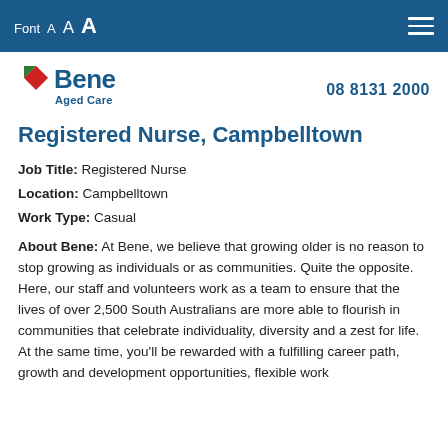Font A A A [menu icon]
[Figure (logo): Bene Aged Care logo with red and green diamond shapes and blue text]
08 8131 2000
Registered Nurse, Campbelltown
Job Title: Registered Nurse
Location: Campbelltown
Work Type: Casual
About Bene: At Bene, we believe that growing older is no reason to stop growing as individuals or as communities. Quite the opposite. Here, our staff and volunteers work as a team to ensure that the lives of over 2,500 South Australians are more able to flourish in communities that celebrate individuality, diversity and a zest for life. At the same time, you'll be rewarded with a fulfilling career path, growth and development opportunities, flexible work